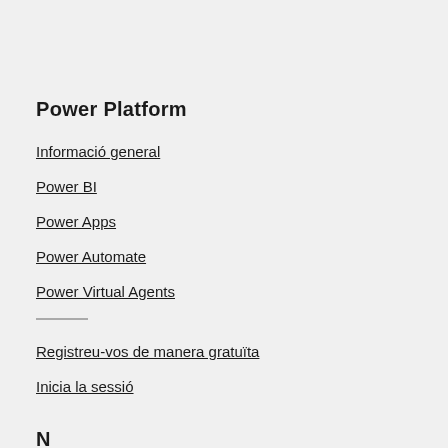Power Platform
Informació general
Power BI
Power Apps
Power Automate
Power Virtual Agents
Registreu-vos de manera gratuïta
Inicia la sessió
N